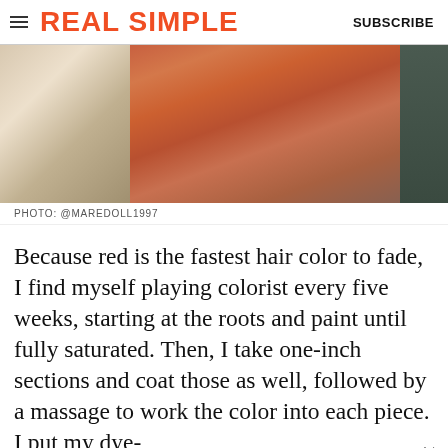REAL SIMPLE | SUBSCRIBE
[Figure (photo): Close-up photo of a person with red/auburn dyed hair, leaning forward. Background shows a white pillow on the left and dark clothing on the right.]
PHOTO: @MAREDOLL1997
Because red is the fastest hair color to fade, I find myself playing colorist every five weeks, starting at the roots and paint until fully saturated. Then, I take one-inch sections and coat those as well, followed by a massage to work the color into each piece. I put my dye-